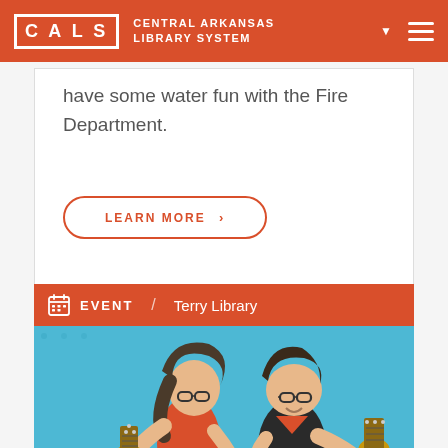CALS | CENTRAL ARKANSAS LIBRARY SYSTEM
have some water fun with the Fire Department.
LEARN MORE ›
EVENT | Terry Library
[Figure (illustration): Illustration of two people playing guitar/ukulele against a blue background]